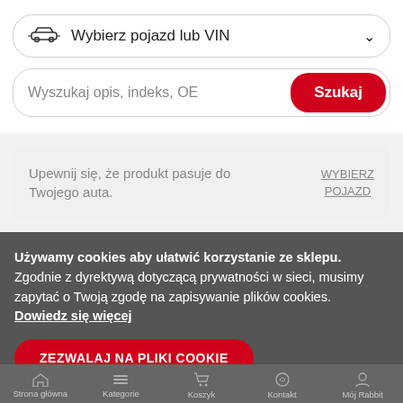Wybierz pojazd lub VIN
Wyszukaj opis, indeks, OE
Szukaj
Upewnij się, że produkt pasuje do Twojego auta.
WYBIERZ POJAZD
Używamy cookies aby ułatwić korzystanie ze sklepu. Zgodnie z dyrektywą dotyczącą prywatności w sieci, musimy zapytać o Twoją zgodę na zapisywanie plików cookies. Dowiedz się więcej
ZEZWALAJ NA PLIKI COOKIE
Strona główna   Kategorie   Koszyk   Kontakt   Mój Rabbit